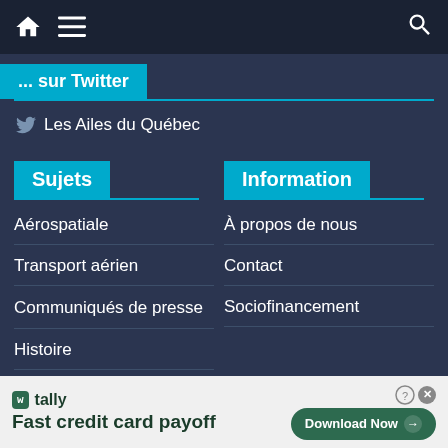Navigation bar with home, menu, and search icons
... sur Twitter
Les Ailes du Québec
Sujets
Information
Aérospatiale
À propos de nous
Transport aérien
Contact
Communiqués de presse
Sociofinancement
Histoire
[Figure (screenshot): Advertisement banner for Tally app: 'Fast credit card payoff' with Download Now button]